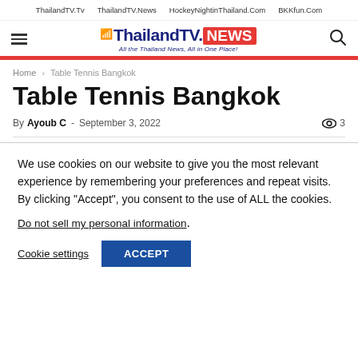ThailandTV.Tv   ThailandTV.News   HockeyNightinThailand.Com   BKKfun.Com
[Figure (logo): ThailandTV.NEWS logo with tagline 'All the Thailand News, All in One Place!']
Home › Table Tennis Bangkok
Table Tennis Bangkok
By Ayoub C - September 3, 2022   👁 3
We use cookies on our website to give you the most relevant experience by remembering your preferences and repeat visits. By clicking "Accept", you consent to the use of ALL the cookies.
Do not sell my personal information.
Cookie settings   ACCEPT